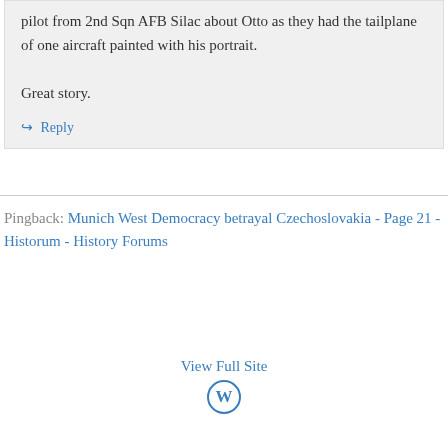pilot from 2nd Sqn AFB Silac about Otto as they had the tailplane of one aircraft painted with his portrait.
Great story.
↳ Reply
Pingback: Munich West Democracy betrayal Czechoslovakia - Page 21 - Historum - History Forums
View Full Site